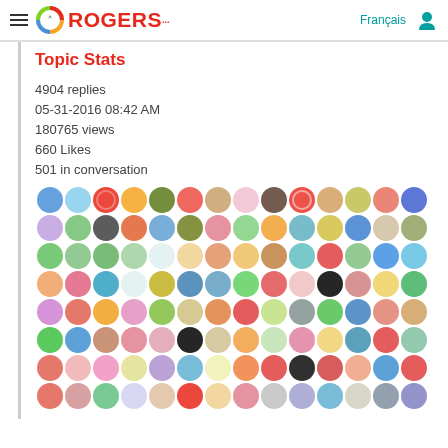Rogers - Français [user icon]
Topic Stats
4904 replies
05-31-2016 08:42 AM
180765 views
660 Likes
501 in conversation
[Figure (photo): Grid of colorful circular user avatar icons, approximately 8 rows of 14 avatars each, showing various colorful marble-like or illustrated profile pictures]